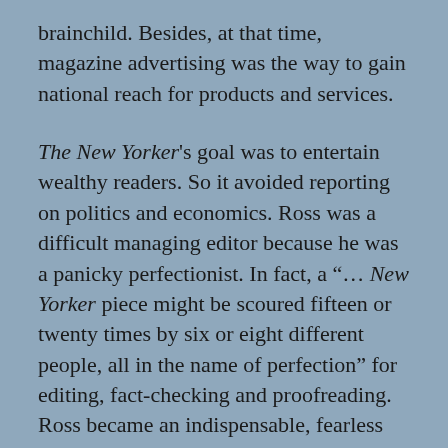brainchild. Besides, at that time, magazine advertising was the way to gain national reach for products and services.
The New Yorker's goal was to entertain wealthy readers. So it avoided reporting on politics and economics. Ross was a difficult managing editor because he was a panicky perfectionist. In fact, a "... New Yorker piece might be scoured fifteen or twenty times by six or eight different people, all in the name of perfection" for editing, fact-checking and proofreading. Ross became an indispensable, fearless leader. The other party crucial to the publication was its major initial investor, an heir to the Fleischmann yeast fortune.